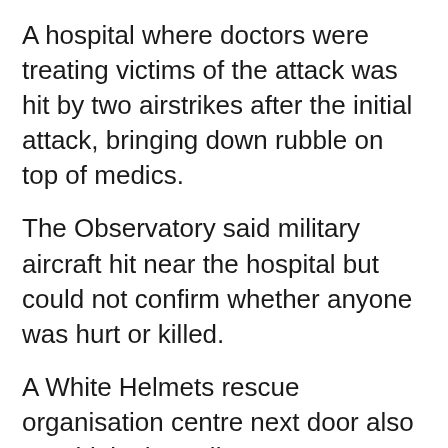A hospital where doctors were treating victims of the attack was hit by two airstrikes after the initial attack, bringing down rubble on top of medics.
The Observatory said military aircraft hit near the hospital but could not confirm whether anyone was hurt or killed.
A White Helmets rescue organisation centre next door also was hit in the strikes.
After the initial attack, "ambulance units moved out as soon as they received reports of casualties", White Helmets member Wassim Junaid told Diyaruna. "The teams were surprised by the strong smell of gas."
Junaid said he was "with the first teams to